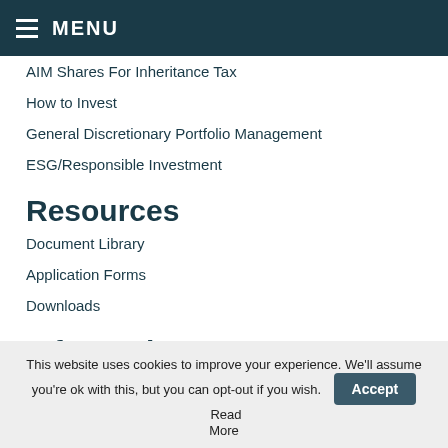MENU
AIM Shares For Inheritance Tax
How to Invest
General Discretionary Portfolio Management
ESG/Responsible Investment
Resources
Document Library
Application Forms
Downloads
Information
Conflicts of Interest
Execution Policy
This website uses cookies to improve your experience. We'll assume you're ok with this, but you can opt-out if you wish. Accept Read More